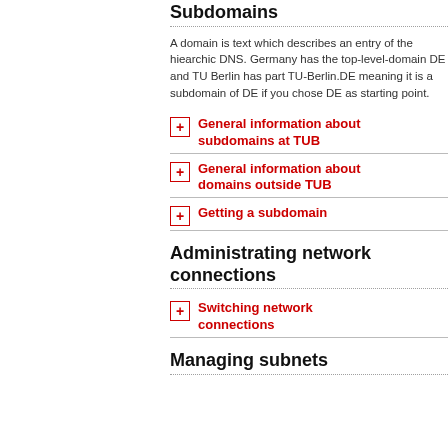Subdomains
A domain is text which describes an entry of the hiearchic DNS. Germany has the top-level-domain DE and TU Berlin has part TU-Berlin.DE meaning it is a subdomain of DE if you chose DE as starting point.
General information about subdomains at TUB
General information about domains outside TUB
Getting a subdomain
Administrating network connections
Switching network connections
Managing subnets